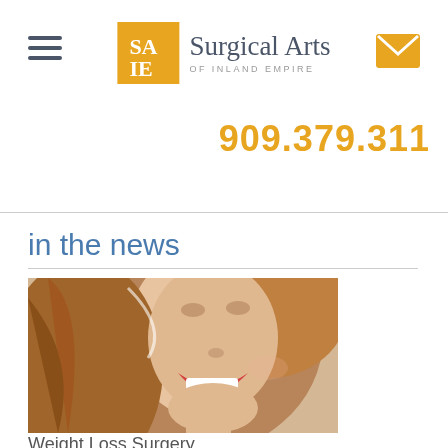Surgical Arts of Inland Empire — navigation header with logo, hamburger menu, and mail icon
909.379.311
in the news
[Figure (photo): Close-up portrait of a smiling young woman with long brown hair and red lipstick]
Weight Loss Surgery